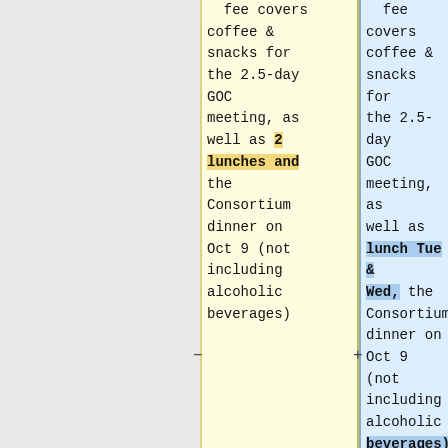fee covers coffee & snacks for the 2.5-day GOC meeting, as well as 2 lunches and the Consortium dinner on Oct 9 (not including alcoholic beverages)
fee covers coffee & snacks for the 2.5-day GOC meeting, as well as lunch Tue & Wed, the Consortium dinner on Oct 9 (not including alcoholic beverages), and the optional pizza social (not including beverages)